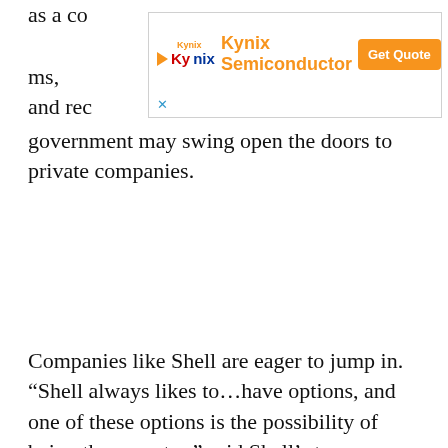as a co…ms, and rec…
[Figure (other): Kynix Semiconductor advertisement banner with orange Get Quote button and blue X close icon]
government may swing open the doors to private companies.
Companies like Shell are eager to jump in. “Shell always likes to…have options, and one of these options is the possibility of being the operator,” said Shell’s top executive in Brazil, Andre Araujo, according to the FT.